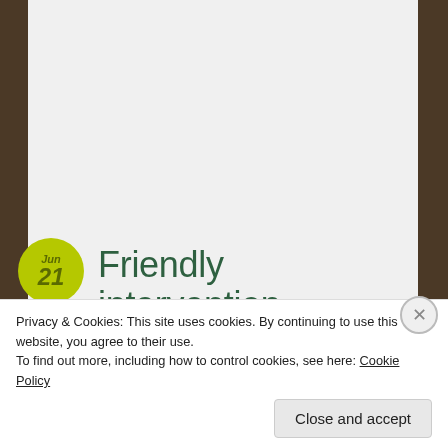Friendly intervention
[Figure (screenshot): Tweet card from BBC Politics (@BBCPolitics) with verified badge and Follow button. Text reads: "I'm so sad that you're doing this. You will have a diminished role on the world stage, your economy will suffer, it will have a huge impact on society"]
Privacy & Cookies: This site uses cookies. By continuing to use this website, you agree to their use.
To find out more, including how to control cookies, see here: Cookie Policy
Close and accept